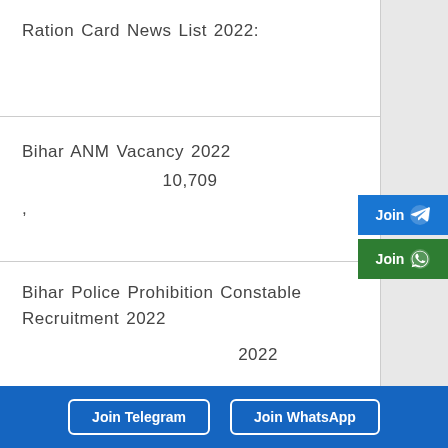Ration Card News List 2022:
Bihar ANM Vacancy 2022 10,709 ,
Bihar Police Prohibition Constable Recruitment 2022 2022 ,
Join Telegram
Join WhatsApp